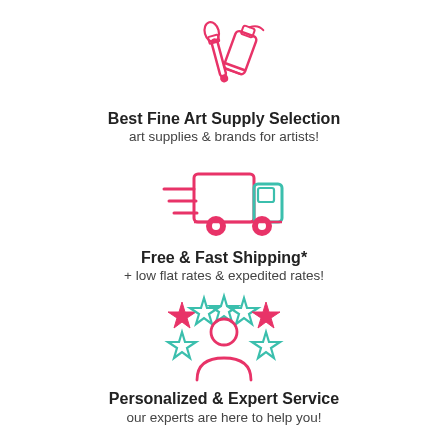[Figure (illustration): Art supply icon: paintbrush and paint tube in pink/red outline style]
Best Fine Art Supply Selection
art supplies & brands for artists!
[Figure (illustration): Delivery truck icon in pink/teal outline style with speed lines]
Free & Fast Shipping*
+ low flat rates & expedited rates!
[Figure (illustration): Person with stars around them — customer service/satisfaction icon in pink and teal]
Personalized & Expert Service
our experts are here to help you!